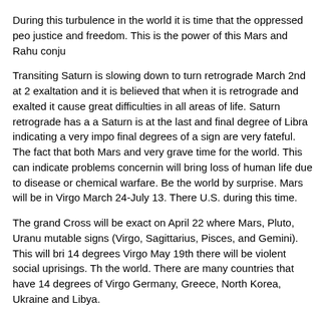During this turbulence in the world it is time that the oppressed peo justice and freedom. This is the power of this Mars and Rahu conju
Transiting Saturn is slowing down to turn retrograde March 2nd at 2 exaltation and it is believed that when it is retrograde and exalted it cause great difficulties in all areas of life. Saturn retrograde has a a Saturn is at the last and final degree of Libra indicating a very impo final degrees of a sign are very fateful. The fact that both Mars and very grave time for the world. This can indicate problems concernin will bring loss of human life due to disease or chemical warfare. Be the world by surprise. Mars will be in Virgo March 24-July 13. There U.S. during this time.
The grand Cross will be exact on April 22 where Mars, Pluto, Uranu mutable signs (Virgo, Sagittarius, Pisces, and Gemini). This will bri 14 degrees Virgo May 19th there will be violent social uprisings. Th the world. There are many countries that have 14 degrees of Virgo Germany, Greece, North Korea, Ukraine and Libya.
Additionally, the Solar Eclipse that occurs April 29th will occur at 14 degrees of Virgo in May which is the full 8th aspect of Mars. Lookin world war.